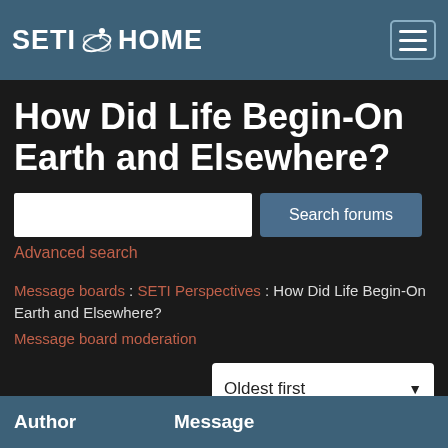SETI@HOME
How Did Life Begin-On Earth and Elsewhere?
Advanced search
Message boards : SETI Perspectives : How Did Life Begin-On Earth and Elsewhere?
Message board moderation
To post messages, you must log in.
| Author | Message |
| --- | --- |